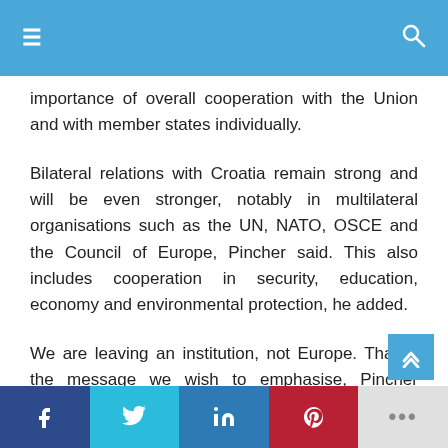≡   [navigation bar]   🔍
importance of overall cooperation with the Union and with member states individually.
Bilateral relations with Croatia remain strong and will be even stronger, notably in multilateral organisations such as the UN, NATO, OSCE and the Council of Europe, Pincher said. This also includes cooperation in security, education, economy and environmental protection, he added.
We are leaving an institution, not Europe. That is the message we wish to emphasise, Pincher concluded.
[Figure (screenshot): Social share bar with Facebook, Twitter, LinkedIn, Pinterest, and more buttons]